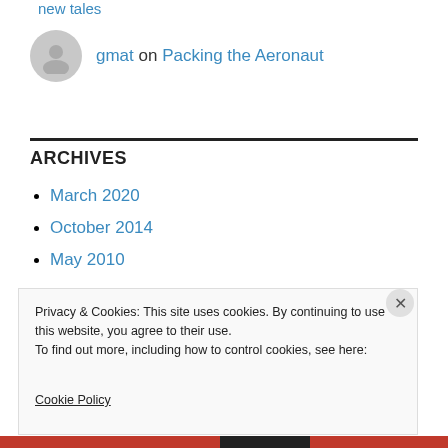new tales
gmat on Packing the Aeronaut
ARCHIVES
March 2020
October 2014
May 2010
Privacy & Cookies: This site uses cookies. By continuing to use this website, you agree to their use.
To find out more, including how to control cookies, see here:
Cookie Policy
Close and accept